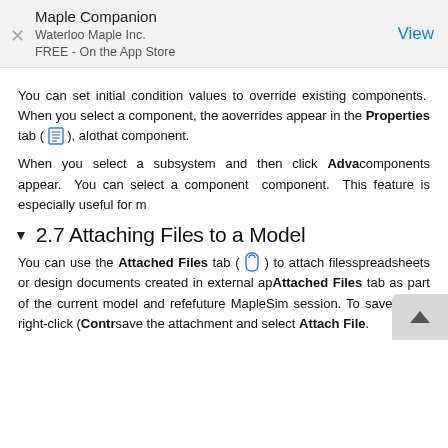Maple Companion
Waterloo Maple Inc.
FREE - On the App Store
You can set initial condition values to override existing components. When you select a component, the overrides appear in the Properties tab ( [icon] ), alo… that component.
When you select a subsystem and then click Adva… components appear. You can select a component component. This feature is especially useful for m…
2.7 Attaching Files to a Model
You can use the Attached Files tab ( [icon] ) to attach files spreadsheets or design documents created in external ap… Attached Files tab as part of the current model and refe… future MapleSim session. To save a file, right-click (Contr… save the attachment and select Attach File.